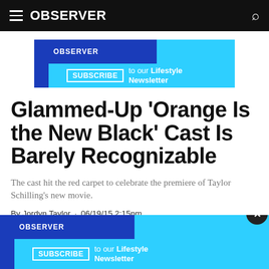OBSERVER
[Figure (infographic): Observer Subscribe to our Lifestyle Newsletter banner advertisement in blue and cyan colors]
Glammed-Up 'Orange Is the New Black' Cast Is Barely Recognizable
The cast hit the red carpet to celebrate the premiere of Taylor Schilling's new movie.
By Jordyn Taylor · 06/19/15 2:15pm
[Figure (infographic): Observer Subscribe to our Lifestyle Newsletter banner advertisement overlay at bottom of page with close button]